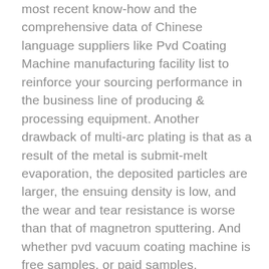most recent know-how and the comprehensive data of Chinese language suppliers like Pvd Coating Machine manufacturing facility list to reinforce your sourcing performance in the business line of producing & processing equipment. Another drawback of multi-arc plating is that as a result of the metal is submit-melt evaporation, the deposited particles are larger, the ensuing density is low, and the wear and tear resistance is worse than that of magnetron sputtering. And whether pvd vacuum coating machine is free samples, or paid samples. Fashionable coating expertise reduces ARC droplets and the friction between chip and tool. Among the most used technologies for deposition of functional coatings for tools or precision components are these with crucible, the arc evaporation and the sputtering. The global " PVD Vacuum Coating Machines Market " report offers an accurate investigation of the completely different patterns and parameters affecting the economic growth of the PVD